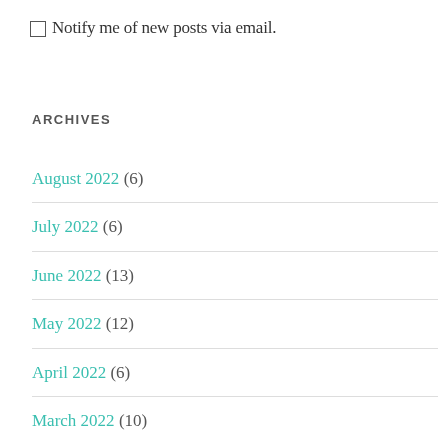Notify me of new posts via email.
ARCHIVES
August 2022 (6)
July 2022 (6)
June 2022 (13)
May 2022 (12)
April 2022 (6)
March 2022 (10)